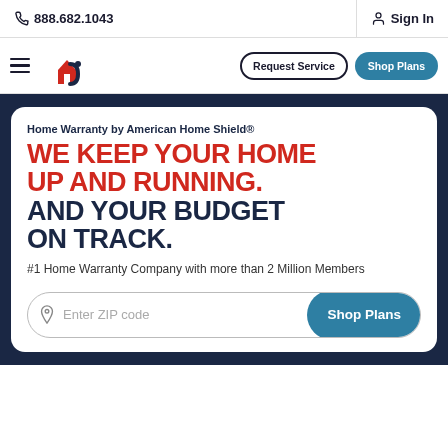888.682.1043   Sign In
[Figure (logo): American Home Shield logo — red house icon with AHS letters, hamburger menu, Request Service and Shop Plans buttons]
Home Warranty by American Home Shield®
WE KEEP YOUR HOME UP AND RUNNING. AND YOUR BUDGET ON TRACK.
#1 Home Warranty Company with more than 2 Million Members
Enter ZIP code   Shop Plans